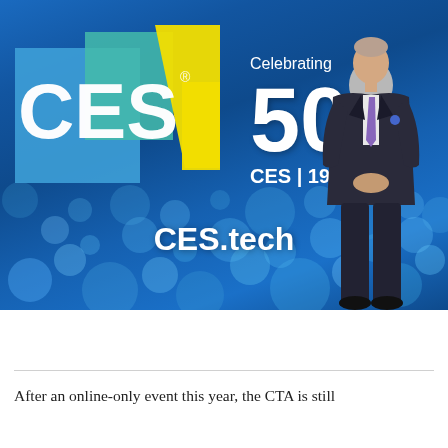[Figure (photo): CES 50th anniversary event photo showing a man in a dark suit and purple tie standing on stage in front of a large blue bokeh backdrop displaying the CES logo with blue, green, and yellow geometric shapes, text reading 'Celebrating 50 CES | 196_', and 'CES.tech' at the bottom center.]
After an online-only event this year, the CTA is still